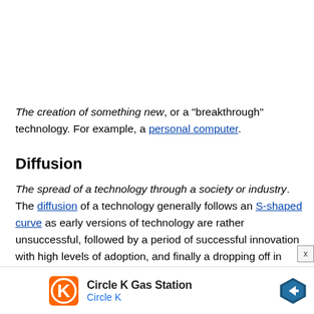The creation of something new, or a "breakthrough" technology. For example, a personal computer.
Diffusion
The spread of a technology through a society or industry. The diffusion of a technology generally follows an S-shaped curve as early versions of technology are rather unsuccessful, followed by a period of successful innovation with high levels of adoption, and finally a dropping off in adoption as a technology reaches its maximum potential in a market. In the case of a personal compute
[Figure (other): Advertisement banner for Circle K Gas Station showing Circle K logo, text 'Circle K Gas Station' and 'Circle K' in blue, and a blue diamond-shaped direction arrow icon.]